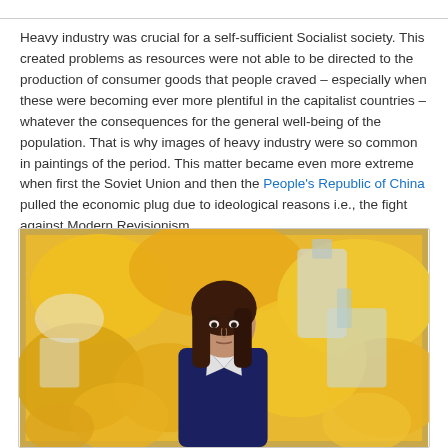Heavy industry was crucial for a self-sufficient Socialist society. This created problems as resources were not able to be directed to the production of consumer goods that people craved – especially when these were becoming ever more plentiful in the capitalist countries – whatever the consequences for the general well-being of the population. That is why images of heavy industry were so common in paintings of the period. This matter became even more extreme when first the Soviet Union and then the People's Republic of China pulled the economic plug due to ideological reasons i.e., the fight against Modern Revisionism.
[Figure (photo): A painting showing a young woman with long dark hair and a serious expression, wearing a dark top with white collar, set against a vivid yellow-orange background with abstract industrial shapes and machinery elements.]